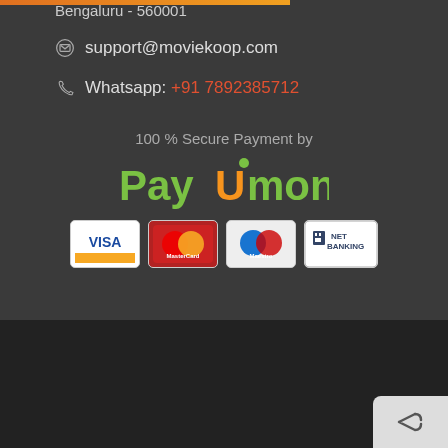Bengaluru - 560001
support@moviekoop.com
Whatsapp: +91 7892385712
100 % Secure Payment by
[Figure (logo): PayUmoney logo in green text]
[Figure (other): Payment method icons: VISA, MasterCard, Maestro, NET BANKING]
Copyright 2022 © Couplor Technologies Pvt. Ltd.